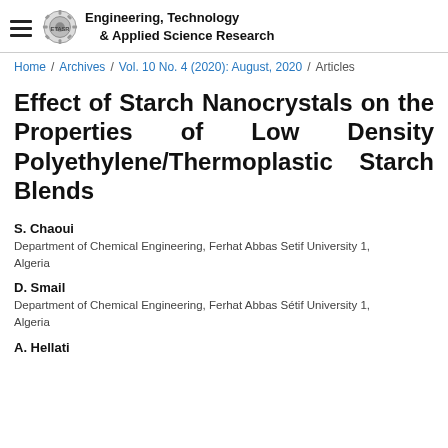Engineering, Technology & Applied Science Research
Home / Archives / Vol. 10 No. 4 (2020): August, 2020 / Articles
Effect of Starch Nanocrystals on the Properties of Low Density Polyethylene/Thermoplastic Starch Blends
S. Chaoui
Department of Chemical Engineering, Ferhat Abbas Setif University 1, Algeria
D. Smail
Department of Chemical Engineering, Ferhat Abbas Sétif University 1, Algeria
A. Hellati